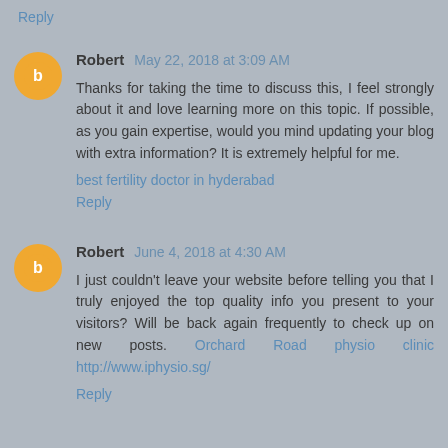Reply
Robert  May 22, 2018 at 3:09 AM
Thanks for taking the time to discuss this, I feel strongly about it and love learning more on this topic. If possible, as you gain expertise, would you mind updating your blog with extra information? It is extremely helpful for me.
best fertility doctor in hyderabad
Reply
Robert  June 4, 2018 at 4:30 AM
I just couldn't leave your website before telling you that I truly enjoyed the top quality info you present to your visitors? Will be back again frequently to check up on new posts. Orchard Road physio clinic http://www.iphysio.sg/
Reply